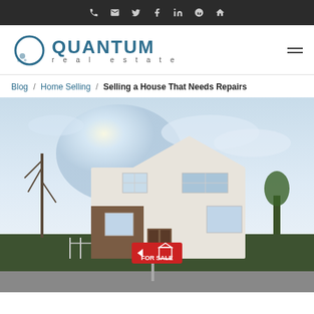Navigation icons: phone, email, twitter, facebook, linkedin, yelp, home
[Figure (logo): Quantum Real Estate logo with circular Q graphic and company name]
Blog / Home Selling / Selling a House That Needs Repairs
[Figure (photo): Exterior photo of a modern white two-story house with a red FOR SALE sign in the foreground, bare trees visible, cloudy sky]